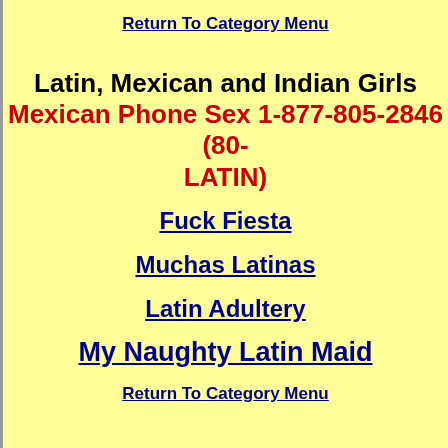Return To Category Menu
Latin, Mexican and Indian Girls
Mexican Phone Sex 1-877-805-2846 (80-LATIN)
Fuck Fiesta
Muchas Latinas
Latin Adultery
My Naughty Latin Maid
Return To Category Menu